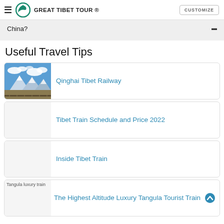GREAT TIBET TOUR ® CUSTOMIZE
China?
Useful Travel Tips
Qinghai Tibet Railway
Tibet Train Schedule and Price 2022
Inside Tibet Train
The Highest Altitude Luxury Tangula Tourist Train